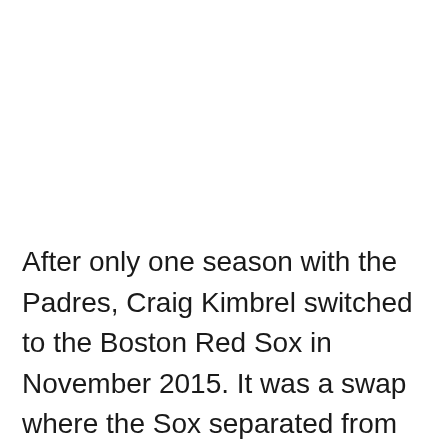After only one season with the Padres, Craig Kimbrel switched to the Boston Red Sox in November 2015. It was a swap where the Sox separated from Logan Allen, Carlos Asuaje, Javy Guerra, and Manuel Margot.